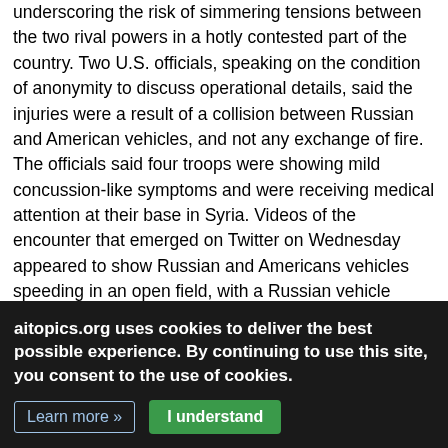underscoring the risk of simmering tensions between the two rival powers in a hotly contested part of the country. Two U.S. officials, speaking on the condition of anonymity to discuss operational details, said the injuries were a result of a collision between Russian and American vehicles, and not any exchange of fire. The officials said four troops were showing mild concussion-like symptoms and were receiving medical attention at their base in Syria. Videos of the encounter that emerged on Twitter on Wednesday appeared to show Russian and Americans vehicles speeding in an open field, with a Russian vehicle ramming an American vehicle, and a Russian helicopter flying low over U.S. forces. The altercation, which happened on Tuesday, is the latest clash between Russian and American ground patrols in northeastern Syria after the United States withdrew from much of that area before a Turkish
aitopics.org uses cookies to deliver the best possible experience. By continuing to use this site, you consent to the use of cookies.
Learn more » | I understand